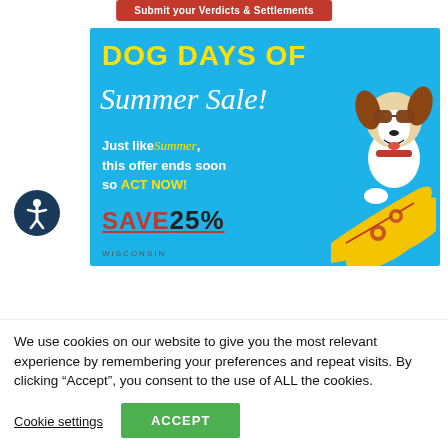[Figure (other): Red button banner at top: 'Submit your Verdicts & Settlements']
[Figure (infographic): Dog Days of Summer Sale advertisement on blue background. Text: DOG DAYS OF Summer Sale! Just like Summer, this offer ends soon so ACT NOW! SAVE 25%. Features a cartoon dog wearing sunglasses holding a yellow surfboard with floral pattern.]
[Figure (other): Accessibility icon — person in circle, dark navy background]
We use cookies on our website to give you the most relevant experience by remembering your preferences and repeat visits. By clicking “Accept”, you consent to the use of ALL the cookies.
Cookie settings
ACCEPT